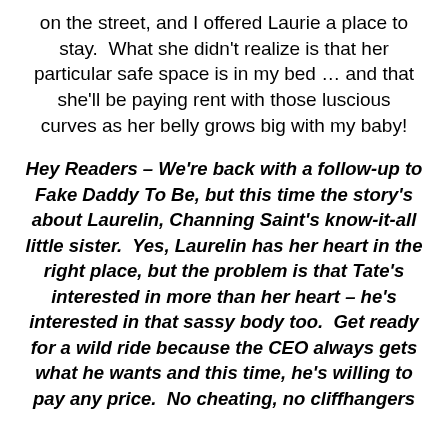on the street, and I offered Laurie a place to stay.  What she didn't realize is that her particular safe space is in my bed … and that she'll be paying rent with those luscious curves as her belly grows big with my baby!
Hey Readers – We're back with a follow-up to Fake Daddy To Be, but this time the story's about Laurelin, Channing Saint's know-it-all little sister.  Yes, Laurelin has her heart in the right place, but the problem is that Tate's interested in more than her heart – he's interested in that sassy body too.  Get ready for a wild ride because the CEO always gets what he wants and this time, he's willing to pay any price.  No cheating, no cliffhangers